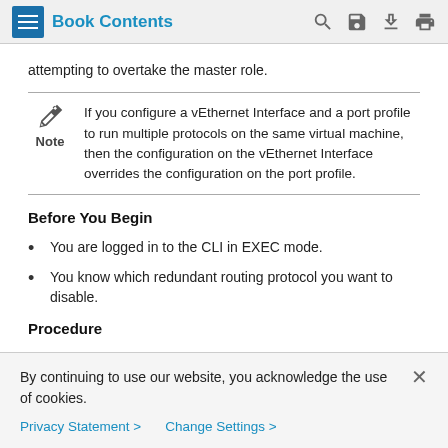Book Contents
attempting to overtake the master role.
Note: If you configure a vEthernet Interface and a port profile to run multiple protocols on the same virtual machine, then the configuration on the vEthernet Interface overrides the configuration on the port profile.
Before You Begin
You are logged in to the CLI in EXEC mode.
You know which redundant routing protocol you want to disable.
Procedure
By continuing to use our website, you acknowledge the use of cookies.
Privacy Statement > Change Settings >